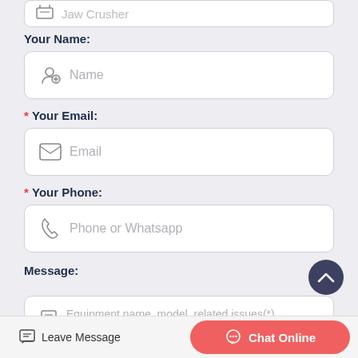Jaw Crusher (partial, top cropped)
Your Name:
Name (placeholder)
* Your Email:
Email (placeholder)
* Your Phone:
Phone or Whatsapp (placeholder)
Message:
Equipment name, model, related issues(*)
Leave Message
Chat Online